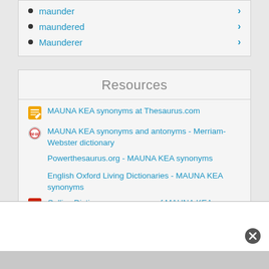maunder
maundered
Maunderer
Resources
MAUNA KEA synonyms at Thesaurus.com
MAUNA KEA synonyms and antonyms - Merriam-Webster dictionary
Powerthesaurus.org - MAUNA KEA synonyms
English Oxford Living Dictionaries - MAUNA KEA synonyms
Collins Dictionary - synonyms of MAUNA KEA
YourDictionary - another words for MAUNA KEA